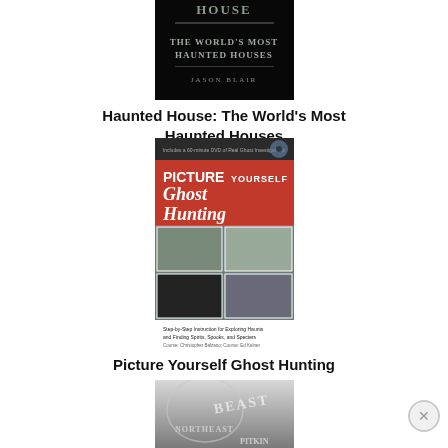[Figure (photo): Book cover for 'Haunted House: The World's Most Haunted Houses' by Jason Blair. Black cover with gray/silver text.]
Haunted House: The World's Most Haunted Houses
Jason Blair
[Figure (photo): Book cover for 'Picture Yourself Ghost Hunting' by Christopher Balzano. Red cover with white text, photos of haunted locations, and white bottom text area.]
Picture Yourself Ghost Hunting
Christopher Balzano
[Figure (photo): Partial book cover — gray/white image with text 'BEAST' and 'PITKIN' partially visible.]